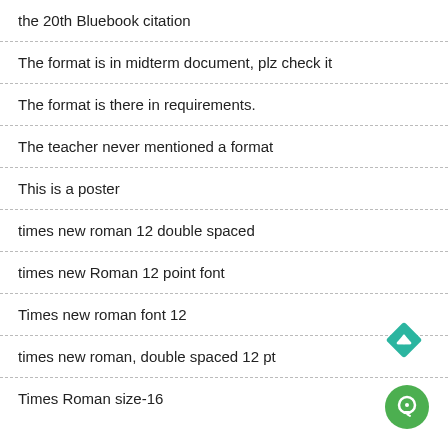the 20th Bluebook citation
The format is in midterm document, plz check it
The format is there in requirements.
The teacher never mentioned a format
This is a poster
times new roman 12 double spaced
times new Roman 12 point font
Times new roman font 12
times new roman, double spaced 12 pt
Times Roman size-16
[Figure (illustration): Teal diamond-shaped up-arrow button in bottom-right area]
[Figure (illustration): Green circle chat/messenger button in bottom-right corner]